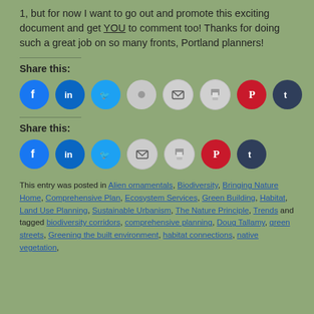1, but for now I want to go out and promote this exciting document and get YOU to comment too! Thanks for doing such a great job on so many fronts, Portland planners!
Share this:
[Figure (infographic): Row of social media share buttons: Facebook, LinkedIn, Twitter, dot, Email, Print, Pinterest, Tumblr]
Share this:
[Figure (infographic): Row of social media share buttons: Facebook, LinkedIn, Twitter, Email, Print, Pinterest, Tumblr]
This entry was posted in Alien ornamentals, Biodiversity, Bringing Nature Home, Comprehensive Plan, Ecosystem Services, Green Building, Habitat, Land Use Planning, Sustainable Urbanism, The Nature Principle, Trends and tagged biodiversity corridors, comprehensive planning, Doug Tallamy, green streets, Greening the built environment, habitat connections, native vegetation,